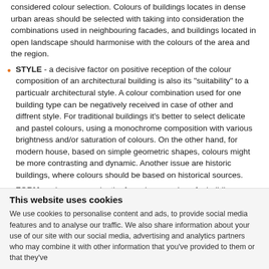considered colour selection. Colours of buildings locates in dense urban areas should be selected with taking into consideration the combinations used in neighbouring facades, and buildings located in open landscape should harmonise with the colours of the area and the region.
STYLE - a decisive factor on positive reception of the colour composition of an architectural building is also its "suitability" to a particualr architectural style. A colour combination used for one building type can be negatively received in case of other and diffrent style. For traditional buildings it's better to select delicate and pastel colours, using a monochrome composition with various brightness and/or saturation of colours. On the other hand, for modern house, based on simple geometric shapes, colours might be more contrasting and dynamic. Another issue are historic buildings, where colours should be based on historical sources.
FORM - colour may make the formal expression of a building...
This website uses cookies
We use cookies to personalise content and ads, to provide social media features and to analyse our traffic. We also share information about your use of our site with our social media, advertising and analytics partners who may combine it with other information that you've provided to them or that they've